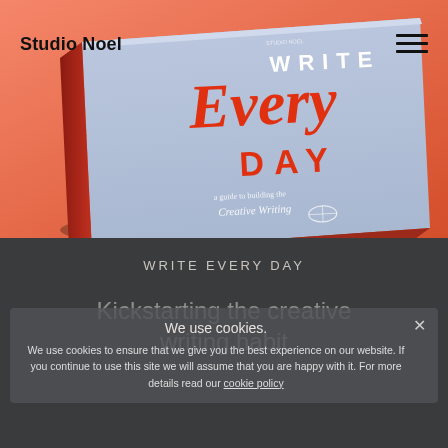[Figure (photo): A photo of a hardcover book titled 'Write Every Day' with a light blue cover and orange/red lettering, placed on an orange-red background. The book spine is red.]
Studio Noel
WRITE EVERY DAY
Kickstarting the creative writing habit
We use cookies.
We use cookies to ensure that we give you the best experience on our website. If you continue to use this site we will assume that you are happy with it. For more details read our cookie policy